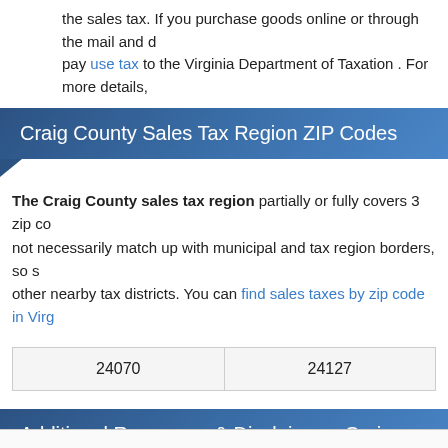the sales tax. If you purchase goods online or through the mail and do not pay use tax to the Virginia Department of Taxation . For more details,
Craig County Sales Tax Region ZIP Codes
The Craig County sales tax region partially or fully covers 3 zip codes. These zip codes may not necessarily match up with municipal and tax region borders, so some of these zip codes may overlap other nearby tax districts. You can find sales taxes by zip code in Virginia here.
| 24070 | 24127 |
Additional Resources & Disclaimer - Craig County Sales Tax
While we make every effort to ensure that our information on the Craig County sales tax is up to date, we offer no warranty as to the accuracy of the data provided. Please let us know if any of our data is incorrect, and we will update our database as soon as possible.
Learn more about the Virginia sales tax
View Virginia sales taxes by county
Craig County sales tax rate map (by SalesTaxHandbook)